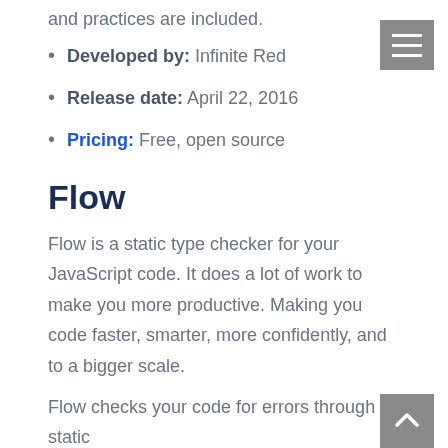and practices are included.
Developed by: Infinite Red
Release date: April 22, 2016
Pricing: Free, open source
Flow
Flow is a static type checker for your JavaScript code. It does a lot of work to make you more productive. Making you code faster, smarter, more confidently, and to a bigger scale.
Flow checks your code for errors through static